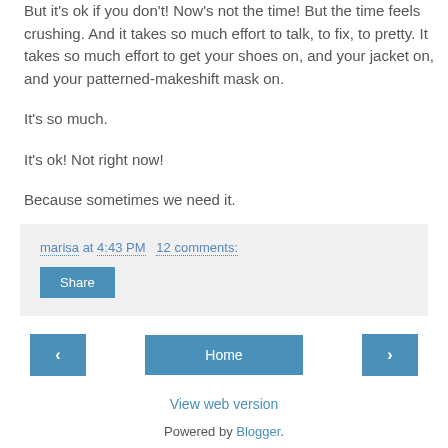But it's ok if you don't! Now's not the time! But the time feels crushing. And it takes so much effort to talk, to fix, to pretty. It takes so much effort to get your shoes on, and your jacket on, and your patterned-makeshift mask on.
It's so much.
It's ok! Not right now!
Because sometimes we need it.
marisa at 4:43 PM   12 comments:
Share
‹   Home   ›
View web version
Powered by Blogger.